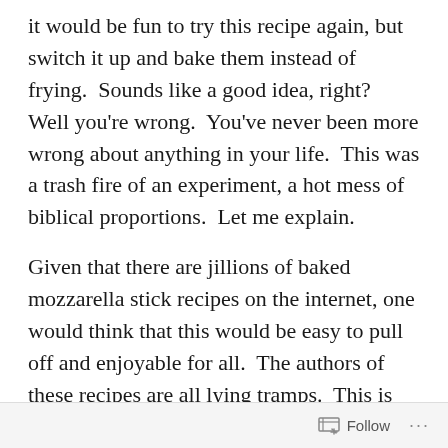it would be fun to try this recipe again, but switch it up and bake them instead of frying.  Sounds like a good idea, right?  Well you're wrong.  You've never been more wrong about anything in your life.  This was a trash fire of an experiment, a hot mess of biblical proportions.  Let me explain.
Given that there are jillions of baked mozzarella stick recipes on the internet, one would think that this would be easy to pull off and enjoyable for all.  The authors of these recipes are all lying tramps.  This is not easy to pull off, and they came out like straight garbage, yet I followed every step of these recipes to the tee.  I basically mimicked the steps of my fried Goldfish mozzarella sticks recipe up until it was cooking time – coat the cheese
Follow ···